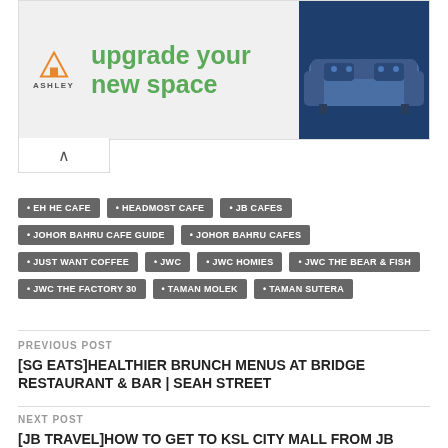[Figure (infographic): Ashley Furniture advertisement banner: orange house logo, 'ASHLEY' text, 'upgrade your new space' in green, 'shop now' button, navy sofa image, play icon]
EH HE CAFE
HEADMOST CAFE
JB CAFES
JOHOR BAHRU CAFE GUIDE
JOHOR BAHRU CAFES
JUST WANT COFFEE
JWC
JWC HOMIES
JWC THE BEAR & FISH
JWC THE FACTORY 30
TAMAN MOLEK
TAMAN SUTERA
PREVIOUS POST
[SG EATS]HEALTHIER BRUNCH MENUS AT BRIDGE RESTAURANT & BAR | SEAH STREET
NEXT POST
[JB TRAVEL]HOW TO GET TO KSL CITY MALL FROM JB CUSTOM CHECK POINT?